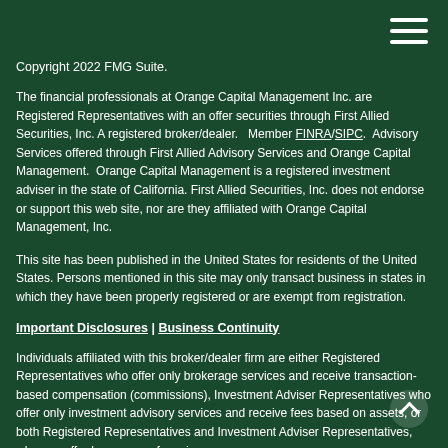[Hamburger menu icon]
Copyright 2022 FMG Suite.
The financial professionals at Orange Capital Management Inc. are Registered Representatives with an offer securities through First Allied Securities, Inc. A registered broker/dealer.   Member FINRA/SIPC.  Advisory Services offered through First Allied Advisory Services and Orange Capital Management.  Orange Capital Management is a registered investment adviser in the state of California. First Allied Securities, Inc. does not endorse or support this web site, nor are they affiliated with Orange Capital Management, Inc.
This site has been published in the United States for residents of the United States. Persons mentioned in this site may only transact business in states in which they have been properly registered or are exempt from registration.
Important Disclosures | Business Continuity
Individuals affiliated with this broker/dealer firm are either Registered Representatives who offer only brokerage services and receive transaction-based compensation (commissions), Investment Adviser Representatives who offer only investment advisory services and receive fees based on assets, or both Registered Representatives and Investment Adviser Representatives, who can offer both types of services.